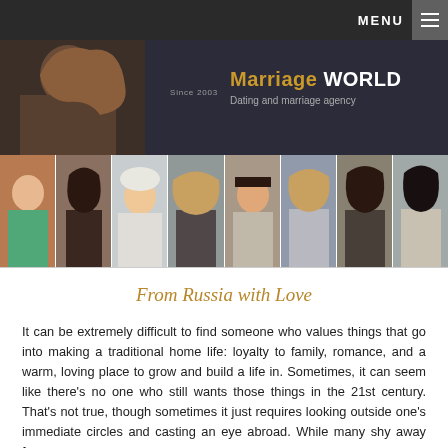MENU
[Figure (illustration): Marriage WORLD dating and marriage agency banner with woman portrait and tagline 'Since 2003']
[Figure (photo): Horizontal strip of eight portrait photos of women]
From Russia with Love
It can be extremely difficult to find someone who values things that go into making a traditional home life: loyalty to family, romance, and a warm, loving place to grow and build a life in. Sometimes, it can seem like there's no one who still wants those things in the 21st century. That's not true, though sometimes it just requires looking outside one's immediate circles and casting an eye abroad. While many shy away from